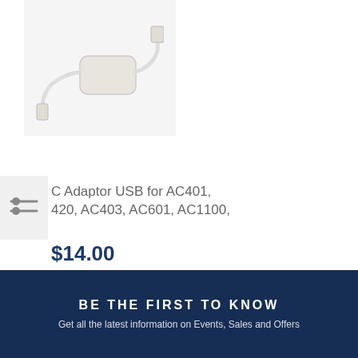[Figure (photo): White AC adapter/USB power adaptor with cable, product image on white/light grey background]
[Figure (other): Filter icon with two horizontal lines and circular controls]
C Adaptor USB for AC401, 420, AC403, AC601, AC1100,
$14.00
ADD TO BASKET
Show 20
BE THE FIRST TO KNOW
Get all the latest information on Events, Sales and Offers